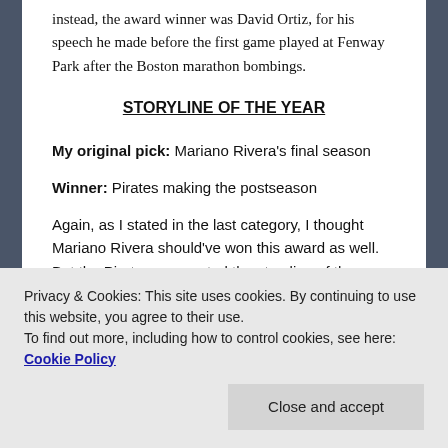instead, the award winner was David Ortiz, for his speech he made before the first game played at Fenway Park after the Boston marathon bombings.
STORYLINE OF THE YEAR
My original pick: Mariano Rivera's final season
Winner: Pirates making the postseason
Again, as I stated in the last category, I thought Mariano Rivera should've won this award as well. But the Pirates were voted the storyline of the year, finishing above .500, and making the postseason, for the first time since 1992.
Privacy & Cookies: This site uses cookies. By continuing to use this website, you agree to their use. To find out more, including how to control cookies, see here: Cookie Policy